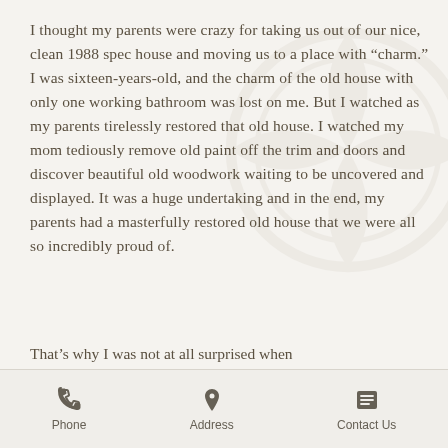I thought my parents were crazy for taking us out of our nice, clean 1988 spec house and moving us to a place with “charm.” I was sixteen-years-old, and the charm of the old house with only one working bathroom was lost on me. But I watched as my parents tirelessly restored that old house. I watched my mom tediously remove old paint off the trim and doors and discover beautiful old woodwork waiting to be uncovered and displayed. It was a huge undertaking and in the end, my parents had a masterfully restored old house that we were all so incredibly proud of.
That’s why I was not at all surprised when
Phone | Address | Contact Us